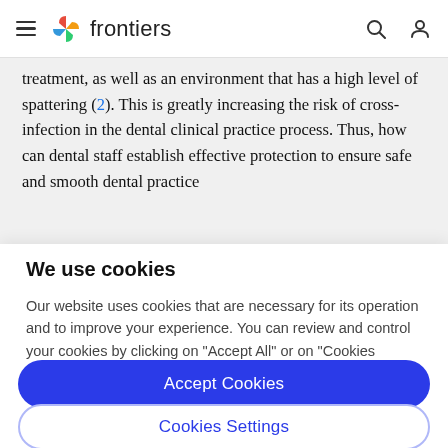frontiers
treatment, as well as an environment that has a high level of spattering (2). This is greatly increasing the risk of cross-infection in the dental clinical practice process. Thus, how can dental staff establish effective protection to ensure safe and smooth dental practice
We use cookies
Our website uses cookies that are necessary for its operation and to improve your experience. You can review and control your cookies by clicking on "Accept All" or on "Cookies Settings".